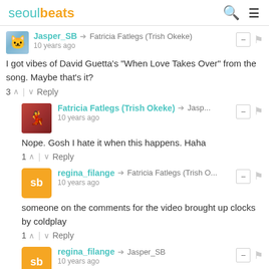seoulbeats
Jasper_SB → Fatricia Fatlegs (Trish Okeke) 10 years ago
I got vibes of David Guetta's "When Love Takes Over" from the song. Maybe that's it?
3 ↑ | ↓ Reply
Fatricia Fatlegs (Trish Okeke) → Jasp... 10 years ago
Nope. Gosh I hate it when this happens. Haha
1 ↑ | ↓ Reply
regina_filange → Fatricia Fatlegs (Trish O... 10 years ago
someone on the comments for the video brought up clocks by coldplay
1 ↑ | ↓ Reply
regina_filange → Jasper_SB 10 years ago